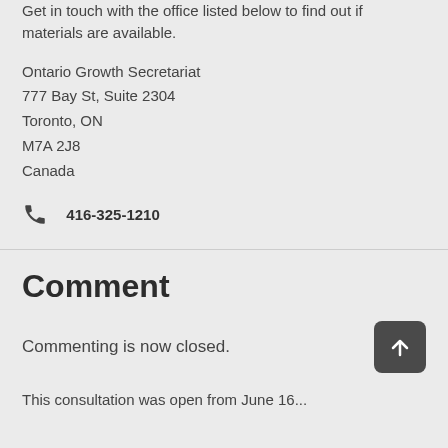Get in touch with the office listed below to find out if materials are available.
Ontario Growth Secretariat
777 Bay St, Suite 2304
Toronto, ON
M7A 2J8
Canada
416-325-1210
Comment
Commenting is now closed.
This consultation was open from June 16...